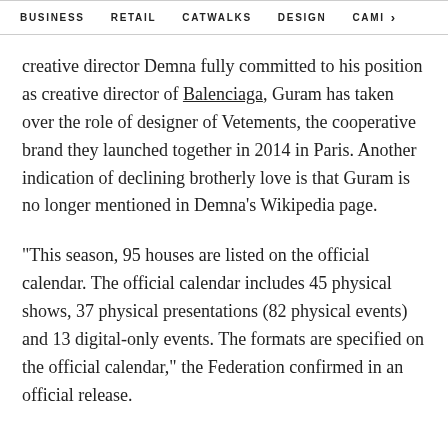BUSINESS   RETAIL   CATWALKS   DESIGN   CAMI >
creative director Demna fully committed to his position as creative director of Balenciaga, Guram has taken over the role of designer of Vetements, the cooperative brand they launched together in 2014 in Paris. Another indication of declining brotherly love is that Guram is no longer mentioned in Demna’s Wikipedia page.
“This season, 95 houses are listed on the official calendar. The official calendar includes 45 physical shows, 37 physical presentations (82 physical events) and 13 digital-only events. The formats are specified on the official calendar,” the Federation confirmed in an official release.